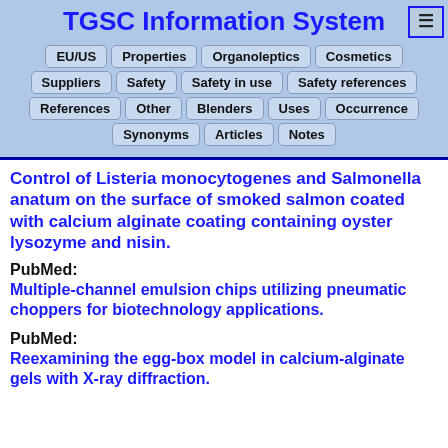TGSC Information System
EU/US | Properties | Organoleptics | Cosmetics
Suppliers | Safety | Safety in use | Safety references
References | Other | Blenders | Uses | Occurrence
Synonyms | Articles | Notes
Control of Listeria monocytogenes and Salmonella anatum on the surface of smoked salmon coated with calcium alginate coating containing oyster lysozyme and nisin.
PubMed:
Multiple-channel emulsion chips utilizing pneumatic choppers for biotechnology applications.
PubMed:
Reexamining the egg-box model in calcium-alginate gels with X-ray diffraction.